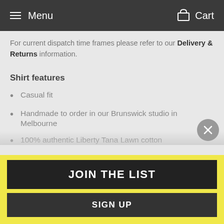Menu   Cart
For current dispatch time frames please refer to our Delivery & Returns information.
Shirt features
Casual fit
Handmade to order in our Brunswick studio in Melbourne
100% authentic Liberty Tana Lawn cotton
100% cotton interlining
Wood buttons
JOIN THE LIST
SIGN UP